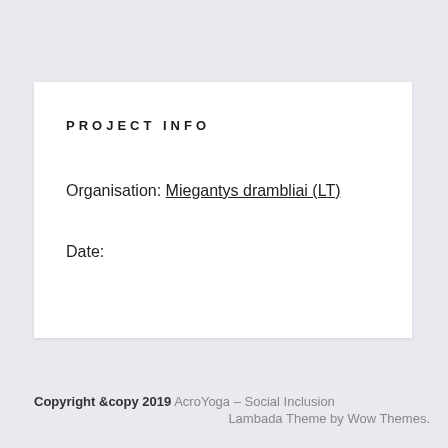PROJECT INFO
Organisation: Miegantys drambliai (LT)
Date:
Copyright &copy 2019 AcroYoga – Social Inclusion
Lambada Theme by Wow Themes.